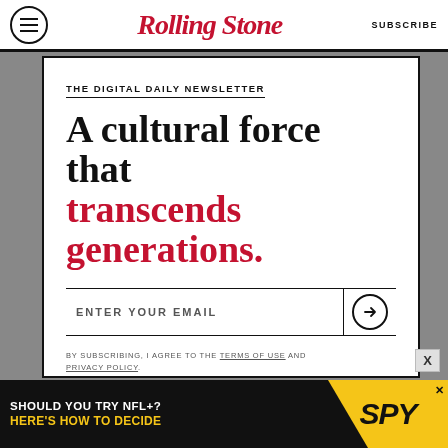RollingStone — SUBSCRIBE
THE DIGITAL DAILY NEWSLETTER
A cultural force that transcends generations.
ENTER YOUR EMAIL
BY SUBSCRIBING, I AGREE TO THE TERMS OF USE AND PRIVACY POLICY.
[Figure (other): Advertisement banner: SHOULD YOU TRY NFL+? HERE'S HOW TO DECIDE with SPY logo on yellow background]